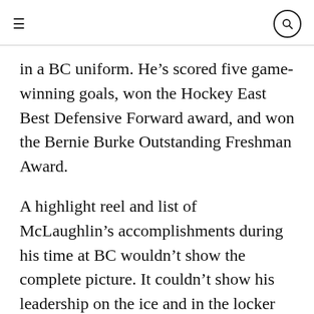≡  🔍
in a BC uniform. He's scored five game-winning goals, won the Hockey East Best Defensive Forward award, and won the Bernie Burke Outstanding Freshman Award.
A highlight reel and list of McLaughlin's accomplishments during his time at BC wouldn't show the complete picture. It couldn't show his leadership on the ice and in the locker room, or how he inspires younger players with his behavior and work ethic. It would, however, be full of great moments on the ice that are